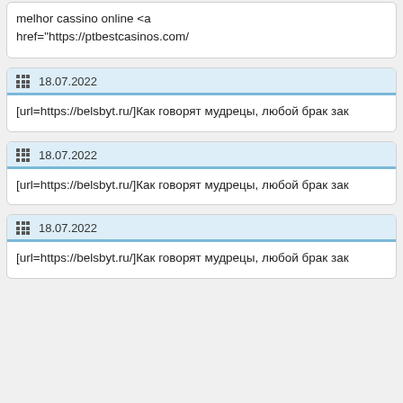melhor cassino online <a href="https://ptbestcasinos.com/
18.07.2022
[url=https://belsbyt.ru/]Как говорят мудрецы, любой брак зак
18.07.2022
[url=https://belsbyt.ru/]Как говорят мудрецы, любой брак зак
18.07.2022
[url=https://belsbyt.ru/]Как говорят мудрецы, любой брак зак